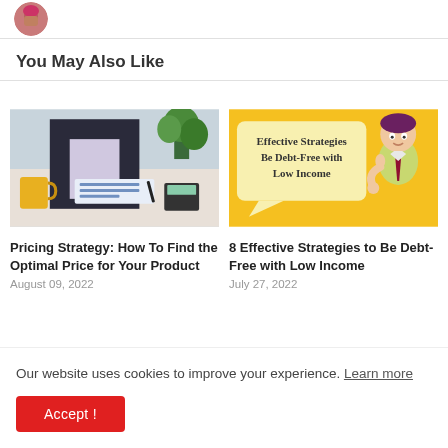[Figure (photo): Partial avatar/profile photo of a person with dark hair, cropped at top]
You May Also Like
[Figure (photo): Person in dark suit working at a desk with papers, calculator, and a yellow mug]
Pricing Strategy: How To Find the Optimal Price for Your Product
August 09, 2022
[Figure (illustration): Yellow background illustration with speech bubble text 'Effective Strategies Be Debt-Free with Low Income' and animated character]
8 Effective Strategies to Be Debt-Free with Low Income
July 27, 2022
Our website uses cookies to improve your experience. Learn more
Accept !